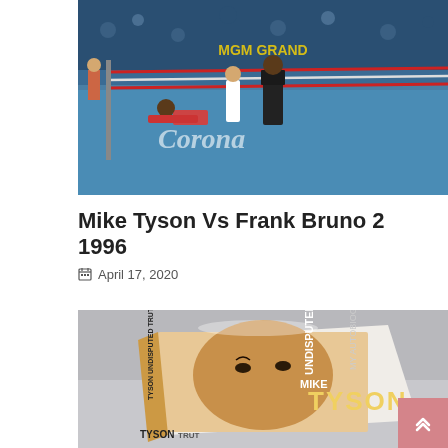[Figure (photo): Boxing match photo showing Mike Tyson vs Frank Bruno 2 1996, boxer knocked down in ring with Corona branding visible on canvas, MGM Grand backdrop]
Mike Tyson Vs Frank Bruno 2 1996
April 17, 2020
[Figure (photo): Photo of Mike Tyson's book 'Undisputed Truth: My Autobiography' lying flat showing cover with Tyson's face and spine text 'TYSON UNDISPUTED TRUTH MY AUTOBIOGRAPHY']